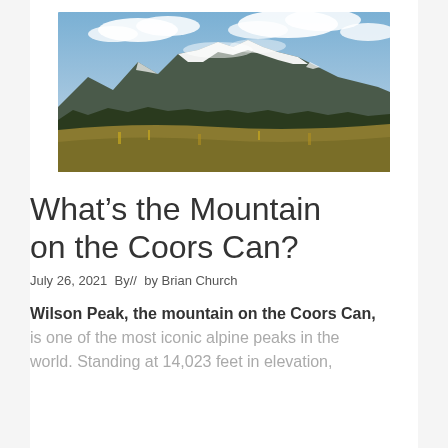[Figure (photo): Photograph of snow-capped mountain range (Wilson Peak) with clouds, forested hillside and golden meadow in the foreground, blue sky above.]
What’s the Mountain on the Coors Can?
July 26, 2021  By//  by Brian Church
Wilson Peak, the mountain on the Coors Can, is one of the most iconic alpine peaks in the world. Standing at 14,023 feet in elevation,